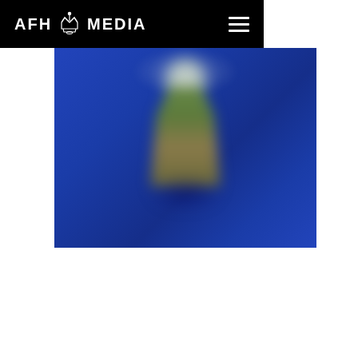AFH MEDIA
[Figure (photo): Blurred photograph of a figure or plant-like object against a deep blue background, appearing on a media company website page]